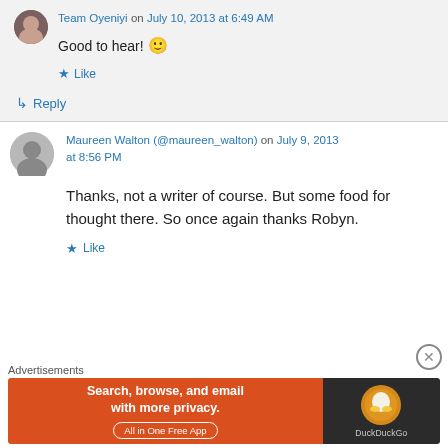Team Oyeniyi on July 10, 2013 at 6:49 AM
Good to hear! 🙂
★ Like
↳ Reply
Maureen Walton (@maureen_walton) on July 9, 2013 at 8:56 PM
Thanks, not a writer of course. But some food for thought there. So once again thanks Robyn.
★ Like
Advertisements
[Figure (other): DuckDuckGo advertisement banner: Search, browse, and email with more privacy. All in One Free App]